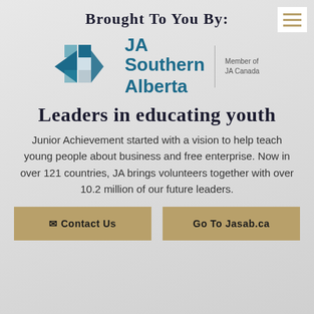[Figure (logo): Hamburger menu icon (three horizontal lines) in white box, top right corner]
Brought to you by:
[Figure (logo): JA Southern Alberta logo - teal geometric diamond/arrow shapes on left, text 'JA Southern Alberta' in teal, vertical divider, 'Member of JA Canada' in grey on right]
Leaders in educating youth
Junior Achievement started with a vision to help teach young people about business and free enterprise. Now in over 121 countries, JA brings volunteers together with over 10.2 million of our future leaders.
✉ Contact Us
Go To Jasab.ca